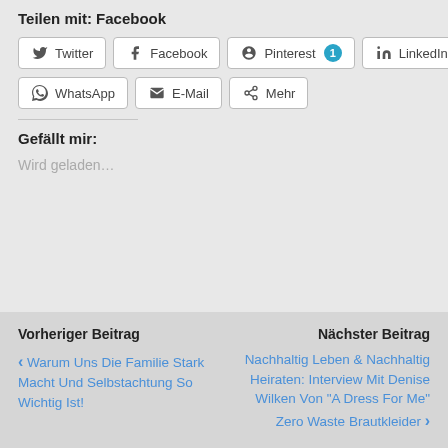Teilen mit: Facebook
Twitter | Facebook | Pinterest 1 | LinkedIn | WhatsApp | E-Mail | Mehr
Gefällt mir:
Wird geladen...
Vorheriger Beitrag
Warum Uns Die Familie Stark Macht Und Selbstachtung So Wichtig Ist!
Nächster Beitrag
Nachhaltig Leben & Nachhaltig Heiraten: Interview Mit Denise Wilken Von "A Dress For Me" Zero Waste Brautkleider